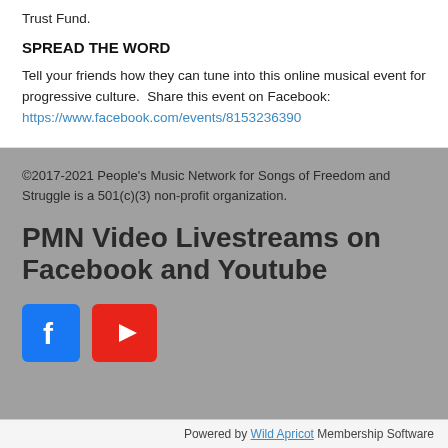Trust Fund.
SPREAD THE WORD
Tell your friends how they can tune into this online musical event for progressive culture.  Share this event on Facebook: https://www.facebook.com/events/8153236390
©2017-2021 People's Music Network for Songs of Freedom and Struggle is a 501(c)(3) non-profit organization.
PMN Video Livestreams on Facebook and Youtube
[Figure (logo): Facebook logo icon (blue square with white f) and YouTube logo icon (red rounded rectangle with white play button)]
Powered by Wild Apricot Membership Software